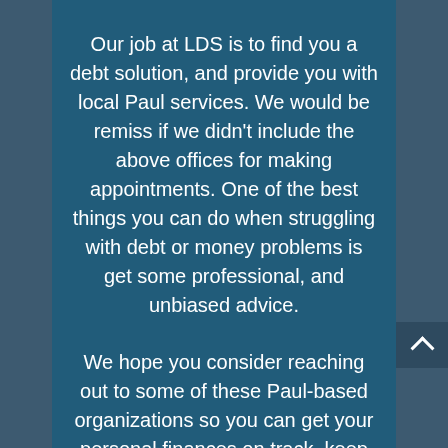Our job at LDS is to find you a debt solution, and provide you with local Paul services. We would be remiss if we didn't include the above offices for making appointments. One of the best things you can do when struggling with debt or money problems is get some professional, and unbiased advice.
We hope you consider reaching out to some of these Paul-based organizations so you can get your personal finances on track, keep your stress to a minimum, and make a solid